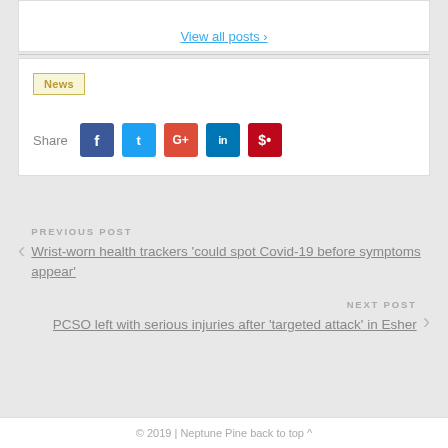View all posts >
News
Share
PREVIOUS POST
Wrist-worn health trackers 'could spot Covid-19 before symptoms appear'
NEXT POST
PCSO left with serious injuries after 'targeted attack' in Esher
© 2019 | Neptune Pine back to top ^